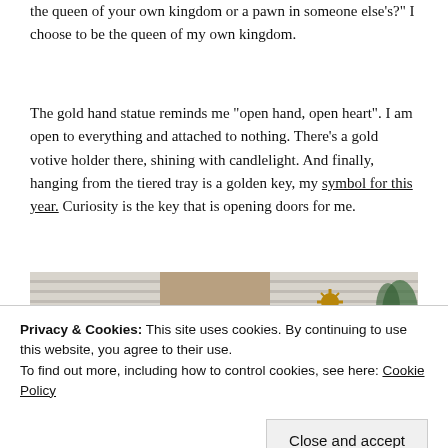the queen of your own kingdom or a pawn in someone else's?" I choose to be the queen of my own kingdom.
The gold hand statue reminds me "open hand, open heart". I am open to everything and attached to nothing. There's a gold votive holder there, shining with candlelight. And finally, hanging from the tiered tray is a golden key, my symbol for this year. Curiosity is the key that is opening doors for me.
[Figure (photo): A photo showing window blinds with a decorative golden sunflower or star-shaped ornament and green plant, partially visible.]
Privacy & Cookies: This site uses cookies. By continuing to use this website, you agree to their use.
To find out more, including how to control cookies, see here: Cookie Policy
Close and accept
[Figure (photo): A partial image visible at the very bottom of the page.]